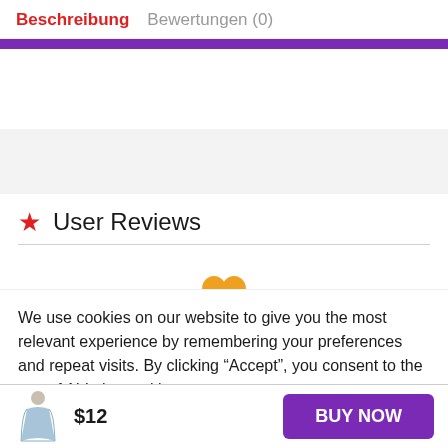Beschreibung   Bewertungen (0)
User Reviews
We use cookies on our website to give you the most relevant experience by remembering your preferences and repeat visits. By clicking “Accept”, you consent to the use of ALL the cookies.
$12
BUY NOW